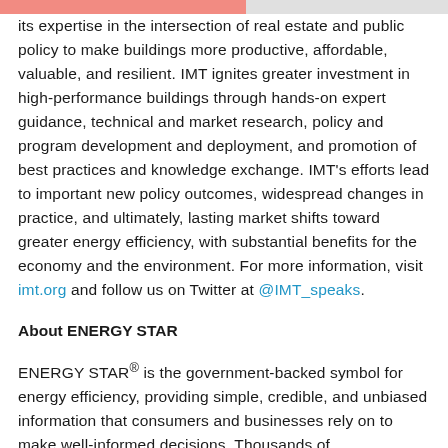its expertise in the intersection of real estate and public policy to make buildings more productive, affordable, valuable, and resilient. IMT ignites greater investment in high-performance buildings through hands-on expert guidance, technical and market research, policy and program development and deployment, and promotion of best practices and knowledge exchange. IMT's efforts lead to important new policy outcomes, widespread changes in practice, and ultimately, lasting market shifts toward greater energy efficiency, with substantial benefits for the economy and the environment. For more information, visit imt.org and follow us on Twitter at @IMT_speaks.
About ENERGY STAR
ENERGY STAR® is the government-backed symbol for energy efficiency, providing simple, credible, and unbiased information that consumers and businesses rely on to make well-informed decisions. Thousands of